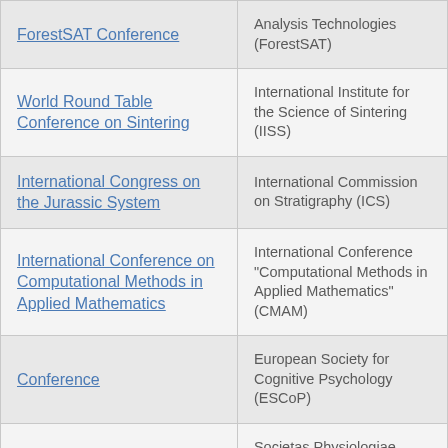| Conference Name | Organization |
| --- | --- |
| ForestSAT Conference | Analysis Technologies (ForestSAT) |
| World Round Table Conference on Sintering | International Institute for the Science of Sintering (IISS) |
| International Congress on the Jurassic System | International Commission on Stratigraphy (ICS) |
| International Conference on Computational Methods in Applied Mathematics | International Conference "Computational Methods in Applied Mathematics" (CMAM) |
| Conference | European Society for Cognitive Psychology (ESCoP) |
| Congress | Societas Physiologiae Plantarum Scandinavica (SPPS) |
| Conference | International Association for Mathematical Geosciences (IAMG) |
|  | Asian Planning Schools... |